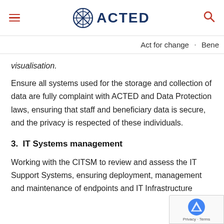ACTED
Act for change · Bene
visualisation.
Ensure all systems used for the storage and collection of data are fully complaint with ACTED and Data Protection laws, ensuring that staff and beneficiary data is secure, and the privacy is respected of these individuals.
3.  IT Systems management
Working with the CITSM to review and assess the IT Support Systems, ensuring deployment, management and maintenance of endpoints and IT Infrastructure